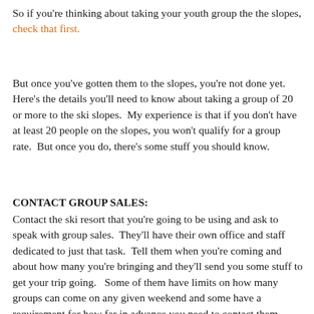So if you're thinking about taking your youth group the the slopes,  check that first.
But once you've gotten them to the slopes, you're not done yet.  Here's the details you'll need to know about taking a group of 20 or more to the ski slopes.  My experience is that if you don't have at least 20 people on the slopes, you won't qualify for a group rate.  But once you do, there's some stuff you should know.
CONTACT GROUP SALES:
Contact the ski resort that you're going to be using and ask to speak with group sales.  They'll have their own office and staff dedicated to just that task.  Tell them when you're coming and about how many you're bringing and they'll send you some stuff to get your trip going.   Some of them have limits on how many groups can come on any given weekend and some have a requirement for how far in advance you need to contact them,